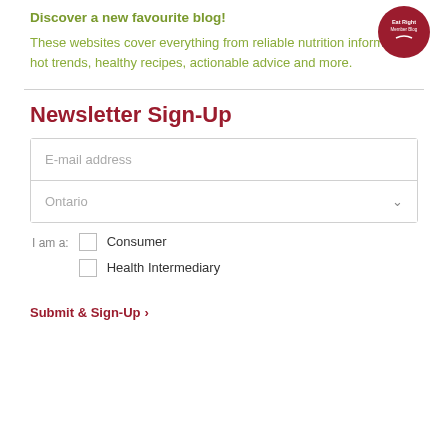Discover a new favourite blog!
These websites cover everything from reliable nutrition information, hot trends, healthy recipes, actionable advice and more.
Newsletter Sign-Up
E-mail address
Ontario
I am a: Consumer / Health Intermediary
Submit & Sign-Up >